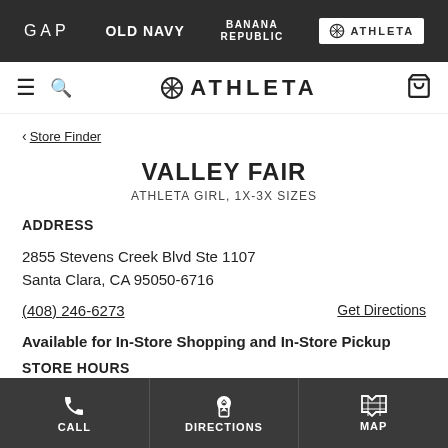GAP | OLD NAVY | BANANA REPUBLIC | ATHLETA
≡ 🔍 ✿ATHLETA 🛍
< Store Finder
VALLEY FAIR
ATHLETA GIRL, 1X-3X SIZES
ADDRESS
2855 Stevens Creek Blvd Ste 1107
Santa Clara, CA 95050-6716
(408) 246-6273    Get Directions
Available for In-Store Shopping and In-Store Pickup
STORE HOURS
CALL | DIRECTIONS | MAP